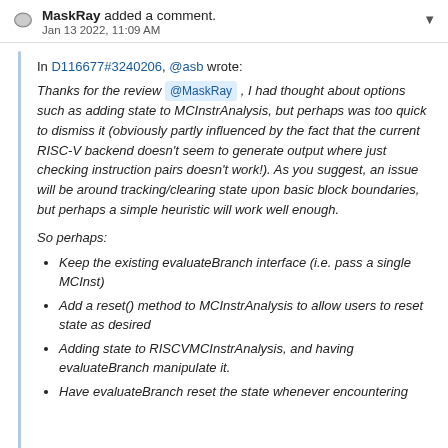MaskRay added a comment. Jan 13 2022, 11:09 AM
In D116677#3240206, @asb wrote:
Thanks for the review @MaskRay , I had thought about options such as adding state to MCInstrAnalysis, but perhaps was too quick to dismiss it (obviously partly influenced by the fact that the current RISC-V backend doesn't seem to generate output where just checking instruction pairs doesn't work!). As you suggest, an issue will be around tracking/clearing state upon basic block boundaries, but perhaps a simple heuristic will work well enough.
So perhaps:
Keep the existing evaluateBranch interface (i.e. pass a single MCInst)
Add a reset() method to MCInstrAnalysis to allow users to reset state as desired
Adding state to RISCVMCInstrAnalysis, and having evaluateBranch manipulate it.
Have evaluateBranch reset the state whenever encountering